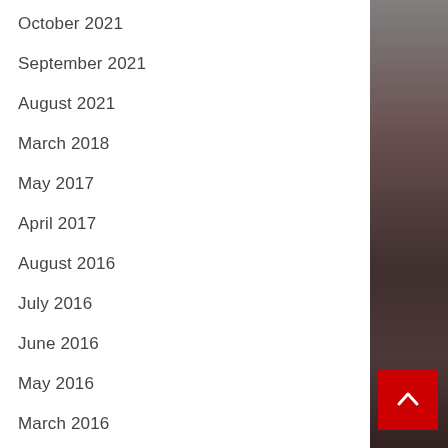October 2021
September 2021
August 2021
March 2018
May 2017
April 2017
August 2016
July 2016
June 2016
May 2016
March 2016
September 2015
August 2015
July 2015
[Figure (other): Dark photographic background image on right side of page with a red back-to-top button (chevron up arrow) in the lower right corner]